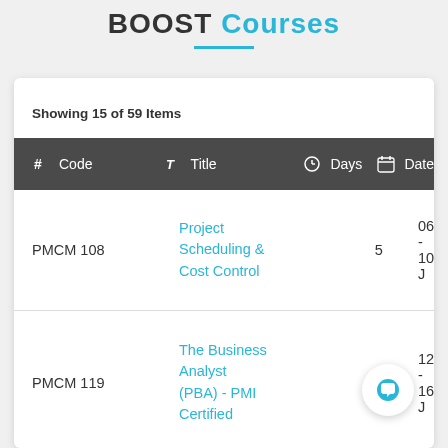BOOST Courses
Showing 15 of 59 Items
| # Code | Title | Days | Date |
| --- | --- | --- | --- |
| PMCM 108 | Project Scheduling & Cost Control | 5 | 06 - 10 J |
| PMCM 119 | The Business Analyst (PBA) - PMI Certified | 5 | 12 - 16 J |
|  | PMI Agile Certified Practi... |  |  |